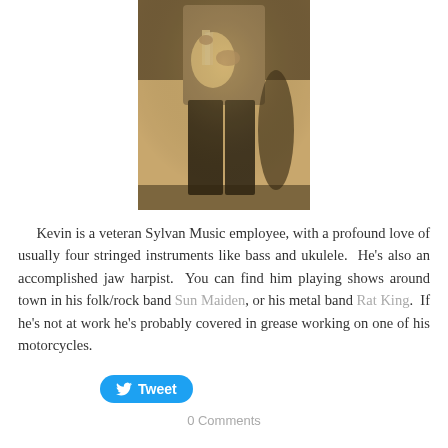[Figure (photo): Sepia-toned photo of a musician playing bass guitar on stage, cropped to show torso and legs, with stage lighting visible in background.]
Kevin is a veteran Sylvan Music employee, with a profound love of usually four stringed instruments like bass and ukulele. He's also an accomplished jaw harpist. You can find him playing shows around town in his folk/rock band Sun Maiden, or his metal band Rat King. If he's not at work he's probably covered in grease working on one of his motorcycles.
Tweet
0 Comments